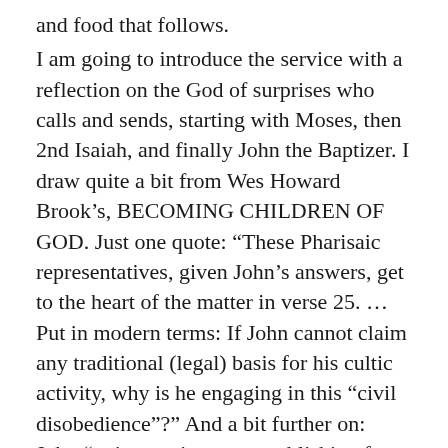and food that follows.
I am going to introduce the service with a reflection on the God of surprises who calls and sends, starting with Moses, then 2nd Isaiah, and finally John the Baptizer. I draw quite a bit from Wes Howard Brook's, BECOMING CHILDREN OF GOD. Just one quote: “These Pharisaic representatives, given John’s answers, get to the heart of the matter in verse 25. …Put in modern terms: If John cannot claim any traditional (legal) basis for his cultic activity, why is he engaging in this “civil disobedience”?” And a bit further on: John “…is carrying out, establishing for the first time the contrast between John’s thrice-repeated “baptize in water” and the Chosen One’s baptism in “holy Spirit.”
Don Senior’s post on the Diocese of Chicago’s web site has his characteristic deep knowledge of the text together with his humble, clear and practical